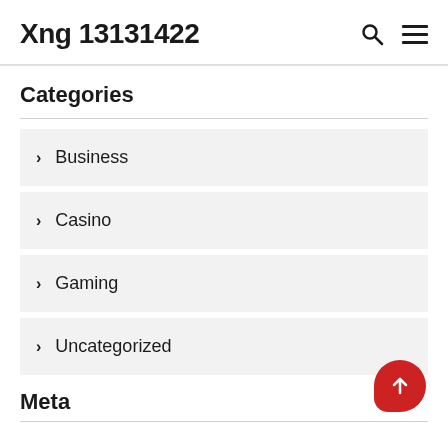Xng 13131422
Categories
> Business
> Casino
> Gaming
> Uncategorized
Meta